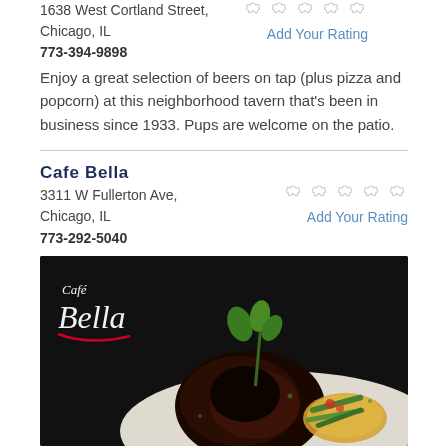1638 West Cortland Street,
Chicago, IL
773-394-9898
Add Your Rating
Enjoy a great selection of beers on tap (plus pizza and popcorn) at this neighborhood tavern that's been in business since 1933. Pups are welcome on the patio.
Cafe Bella
3311 W Fullerton Ave,
Chicago, IL
773-292-5040
Add Your Rating
[Figure (photo): Cafe Bella restaurant photo showing a plated meat dish with herb garnish, green beans, and side vegetables on a white plate, with the Cafe Bella logo in white script in the upper left.]